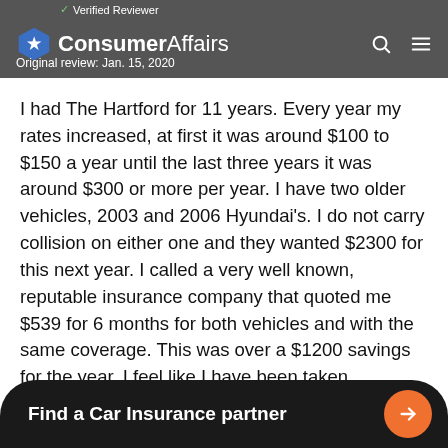✓ Verified Reviewer | ConsumerAffairs | Original review: Jan. 15, 2020
I had The Hartford for 11 years. Every year my rates increased, at first it was around $100 to $150 a year until the last three years it was around $300 or more per year. I have two older vehicles, 2003 and 2006 Hyundai's. I do not carry collision on either one and they wanted $2300 for this next year. I called a very well known, reputable insurance company that quoted me $539 for 6 months for both vehicles and with the same coverage. This was over a $1200 savings for the year. I feel like I have been taken advantage of by The Hartford for several years until I had finally had it with them.
Find a Car Insurance partner